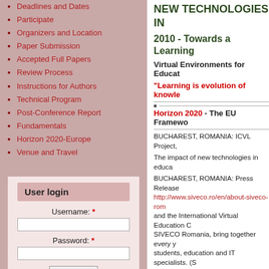Deadlines and Dates
Participate
Organizers and Location
Paper Submission
Accepted Full Papers
Review Process
Instructions for Authors
Technical Program
Post-Conference Report
Fundamentals
Horizon 2020-Europe
Venue and Travel
User login
Username: *
Password: *
Log in
Request new password
NEW TECHNOLOGIES IN
2010 - Towards a Learning
Virtual Environments for Educat
"Learning is evolution of knowle
Horizon 2020 - The EU Framewo
BUCHAREST, ROMANIA: ICVL Project,
The impact of new technologies in educa
BUCHAREST, ROMANIA: Press Release
http://www.siveco.ro/en/about-siveco-rom
and the International Virtual Education C
SIVECO Romania, bring together every y
students, education and IT specialists. (S
CNIV and ICVL Projecs - "Towar
CNIV and ICVL Projects - Financing MI